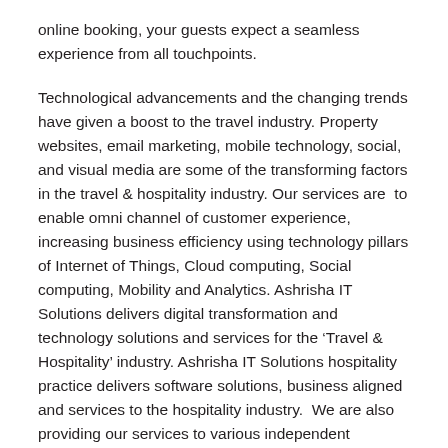online booking, your guests expect a seamless experience from all touchpoints.
Technological advancements and the changing trends have given a boost to the travel industry. Property websites, email marketing, mobile technology, social, and visual media are some of the transforming factors in the travel & hospitality industry. Our services are  to enable omni channel of customer experience, increasing business efficiency using technology pillars of Internet of Things, Cloud computing, Social computing, Mobility and Analytics. Ashrisha IT Solutions delivers digital transformation and technology solutions and services for the 'Travel & Hospitality' industry. Ashrisha IT Solutions hospitality practice delivers software solutions, business aligned and services to the hospitality industry.  We are also providing our services to various independent software